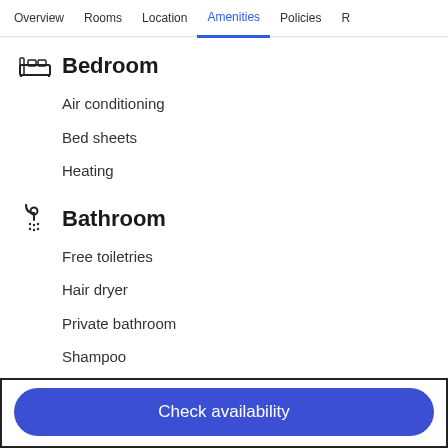Overview  Rooms  Location  Amenities  Policies  R
Bedroom
Air conditioning
Bed sheets
Heating
Bathroom
Free toiletries
Hair dryer
Private bathroom
Shampoo
Shower/tub combination
Soap
Toilet paper
Towels
Check availability